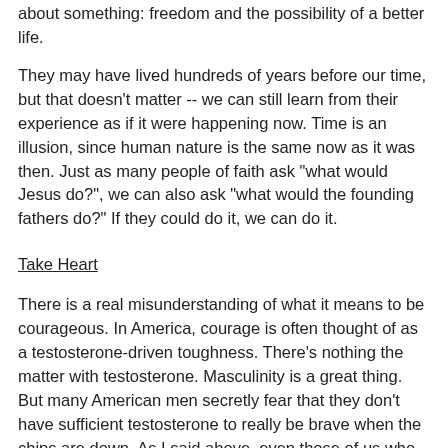about something: freedom and the possibility of a better life.
They may have lived hundreds of years before our time, but that doesn't matter -- we can still learn from their experience as if it were happening now. Time is an illusion, since human nature is the same now as it was then. Just as many people of faith ask "what would Jesus do?", we can also ask "what would the founding fathers do?" If they could do it, we can do it.
Take Heart
There is a real misunderstanding of what it means to be courageous. In America, courage is often thought of as a testosterone-driven toughness. There's nothing the matter with testosterone. Masculinity is a great thing. But many American men secretly fear that they don't have sufficient testosterone to really be brave when the chips are down. As I said above, even those of us who think of ourselves as brave men usually only act like that when we know it is within the bounds of safety, within the limits of what we can handle.